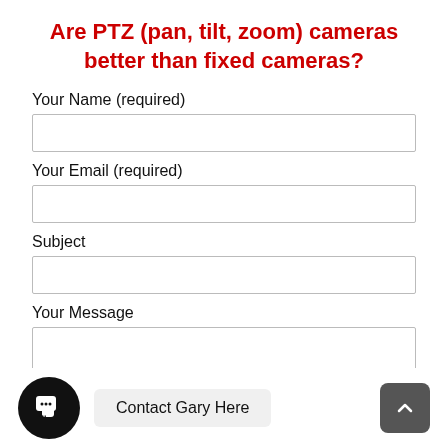Are PTZ (pan, tilt, zoom) cameras better than fixed cameras?
Your Name (required)
Your Email (required)
Subject
Your Message
[Figure (infographic): Bottom bar with circular black chat icon with speech bubbles, a 'Contact Gary Here' button, and a dark gray scroll-up arrow button]